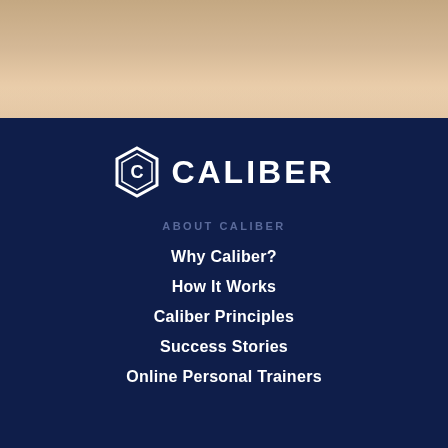[Figure (photo): Partial photo of a person at a wooden surface, warm tones, shown at top of page]
[Figure (logo): Caliber logo with hexagonal C icon and CALIBER wordmark in white on dark navy background]
ABOUT CALIBER
Why Caliber?
How It Works
Caliber Principles
Success Stories
Online Personal Trainers